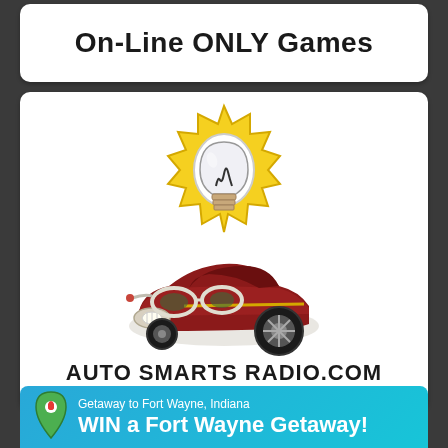On-Line ONLY Games
[Figure (illustration): Lightbulb with yellow sunburst background illustration and cartoon red car with glasses - Auto Smarts Radio logo]
AUTO SMARTS RADIO.COM
Getaway to Fort Wayne, Indiana
WIN a Fort Wayne Getaway!